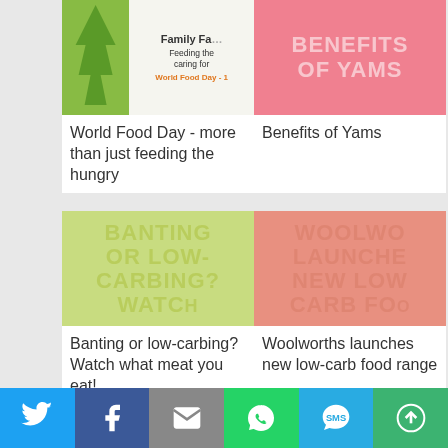[Figure (screenshot): Thumbnail image for World Food Day article - green/nature background with book cover showing 'Family Fa... Feeding the... caring for... World Food Day - 1']
[Figure (screenshot): Thumbnail image for Benefits of Yams article - pink/salmon background with large text 'BENEFITS OF YAMS']
World Food Day - more than just feeding the hungry
Benefits of Yams
[Figure (screenshot): Thumbnail image for Banting article - yellow-green background with large text 'BANTING OR LOW-CARBING? WATCH']
[Figure (screenshot): Thumbnail image for Woolworths article - salmon/coral background with large text 'WOOLWO LAUNCHE NEW LOW CARB FO']
Banting or low-carbing? Watch what meat you eat!
Woolworths launches new low-carb food range
Social share bar: Twitter, Facebook, Email, WhatsApp, SMS, More